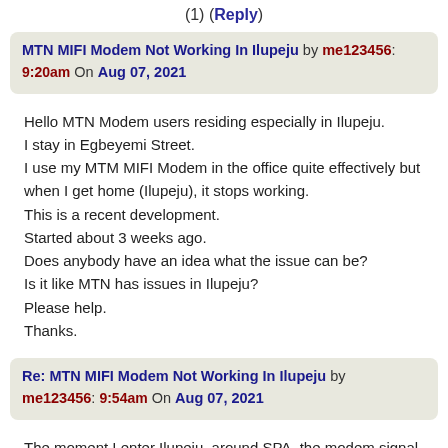(1) (Reply)
MTN MIFI Modem Not Working In Ilupeju by me123456: 9:20am On Aug 07, 2021
Hello MTN Modem users residing especially in Ilupeju.
I stay in Egbeyemi Street.
I use my MTM MIFI Modem in the office quite effectively but when I get home (Ilupeju), it stops working.
This is a recent development.
Started about 3 weeks ago.
Does anybody have an idea what the issue can be?
Is it like MTN has issues in Ilupeju?
Please help.
Thanks.
Re: MTN MIFI Modem Not Working In Ilupeju by me123456: 9:54am On Aug 07, 2021
The moment I enter Ilupeju, around SPA, the modem signal stops.